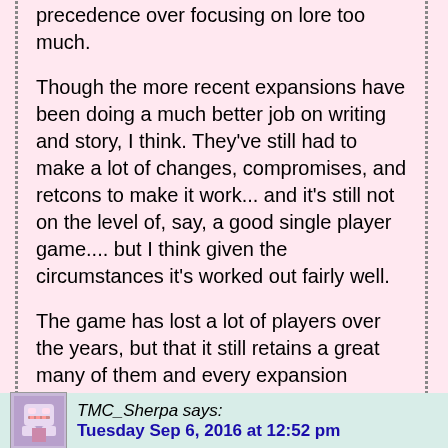precedence over focusing on lore too much.

Though the more recent expansions have been doing a much better job on writing and story, I think. They've still had to make a lot of changes, compromises, and retcons to make it work... and it's still not on the level of, say, a good single player game.... but I think given the circumstances it's worked out fairly well.

The game has lost a lot of players over the years, but that it still retains a great many of them and every expansion seems to bring a bunch of us back... I think they must have done something right (though I won't deny it doesn't appeal to everyone).
Reply
TMC_Sherpa says:
Tuesday Sep 6, 2016 at 12:52 pm